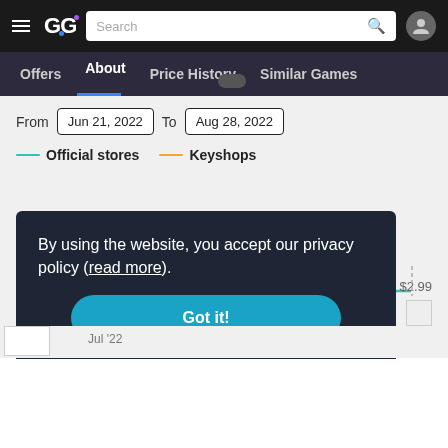GG website header with search bar and user icon
Offers | About | Price History | Similar Games
From Jun 21, 2022 To Aug 28, 2022
Official stores  Keyshops
[Figure (line-chart): A flat teal line showing price history at $2.99 across the date range Jun 21, 2022 to Aug 28, 2022 for official stores. Keyshops shown in orange (not visible in this view).]
$2.99
By using the website, you accept our privacy policy (read more).
Got it!
Jul '22